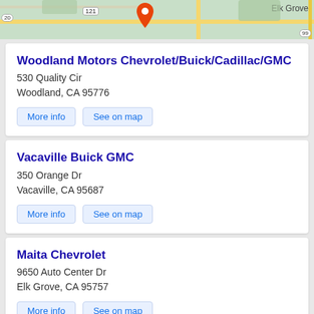[Figure (map): Street map strip showing roads near Elk Grove, CA with a location pin]
Woodland Motors Chevrolet/Buick/Cadillac/GMC
530 Quality Cir
Woodland, CA 95776
More info   See on map
Vacaville Buick GMC
350 Orange Dr
Vacaville, CA 95687
More info   See on map
Maita Chevrolet
9650 Auto Center Dr
Elk Grove, CA 95757
More info   See on map
Elk Grove Buick GMC